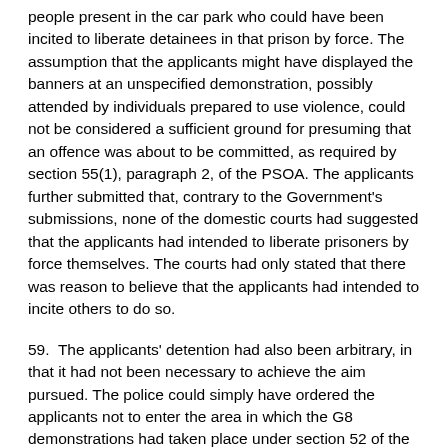people present in the car park who could have been incited to liberate detainees in that prison by force. The assumption that the applicants might have displayed the banners at an unspecified demonstration, possibly attended by individuals prepared to use violence, could not be considered a sufficient ground for presuming that an offence was about to be committed, as required by section 55(1), paragraph 2, of the PSOA. The applicants further submitted that, contrary to the Government's submissions, none of the domestic courts had suggested that the applicants had intended to liberate prisoners by force themselves. The courts had only stated that there was reason to believe that the applicants had intended to incite others to do so.
59.  The applicants' detention had also been arbitrary, in that it had not been necessary to achieve the aim pursued. The police could simply have ordered the applicants not to enter the area in which the G8 demonstrations had taken place under section 52 of the PSOA (see paragraph 39 above). Alternatively, they could also have seized the banners under section 61 of the PSOA (see paragraph 40 above). The applicants would then have been aware that the police considered the slogans illegal. In view of the chilling effect of such a police measure, it ought not to be assumed that the applicants would have reproduced and used similar banners, as was claimed by the Government. As there had not been further violent demonstrations during the whole